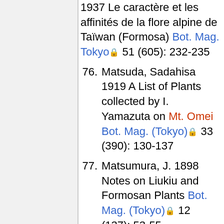(continuation) 1937 Le caractère et les affinités de la flore alpine de Taïwan (Formosa) Bot. Mag. Tokyo 51 (605): 232-235
76. Matsuda, Sadahisa 1919 A List of Plants collected by I. Yamazuta on Mt. Omei Bot. Mag. (Tokyo) 33 (390): 130-137
77. Matsumura, J. 1898 Notes on Liukiu and Formosan Plants Bot. Mag. (Tokyo) 12 (137): 53-55